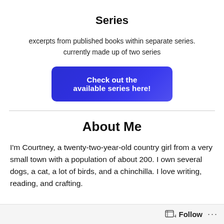Series
excerpts from published books within separate series. currently made up of two series
Check out the available series here!
About Me
I'm Courtney, a twenty-two-year-old country girl from a very small town with a population of about 200. I own several dogs, a cat, a lot of birds, and a chinchilla. I love writing, reading, and crafting.
Follow ...